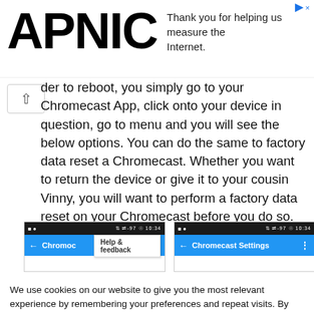[Figure (screenshot): APNIC advertisement banner with logo and text 'Thank you for helping us measure the Internet.']
der to reboot, you simply go to your Chromecast App, click onto your device in question, go to menu and you will see the below options. You can do the same to factory data reset a Chromecast. Whether you want to return the device or give it to your cousin Vinny, you will want to perform a factory data reset on your Chromecast before you do so.
[Figure (screenshot): Two Android smartphone screenshots showing Chromecast app settings with 'Help & feedback' popup and 'Chromecast Settings' screen]
We use cookies on our website to give you the most relevant experience by remembering your preferences and repeat visits. By clicking “Accept”, you consent to the use of ALL the cookies.
Do not sell my personal information.
Cookie Settings   Accept